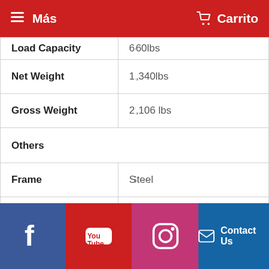≡ Más   🛒 Carrito
| Specification | Value |
| --- | --- |
| Load Capacity | 660lbs |
| Net Weight | 1,340lbs |
| Gross Weight | 2,106 lbs |
| Others |  |
| Frame | Steel |
| Battery | 12V/30amp |
Facebook | YouTube | Instagram | Contact Us